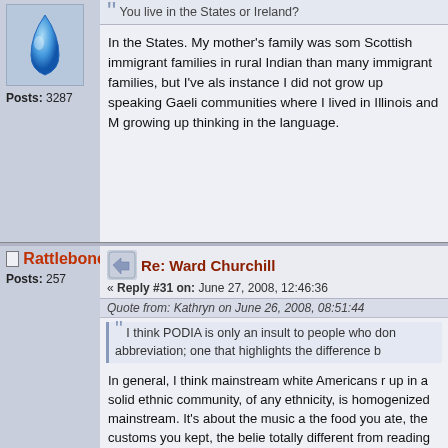You live in the States or Ireland?
In the States. My mother's family was some of the Scottish immigrant families in rural Indiana. We kept more than many immigrant families, but I've also lost a lot. For instance I did not grow up speaking Gaelic. There were no communities where I lived in Illinois and Michigan that were growing up thinking in the language.
Posts: 3287
Rattlebone
Posts: 257
Re: Ward Churchill
« Reply #31 on: June 27, 2008, 12:46:36
Quote from: Kathryn on June 26, 2008, 08:51:44
I think PODIA is only an insult to people who don't abbreviation; one that highlights the difference b
In general, I think mainstream white Americans r up in a solid ethnic community, of any ethnicity, is homogenized mainstream. It's about the music a the food you ate, the customs you kept, the belie totally different from reading these things in a bo think that pointing this difference out is an insult people enough to know there are huge difference
Hell, I've thought of also using PODIA for People...